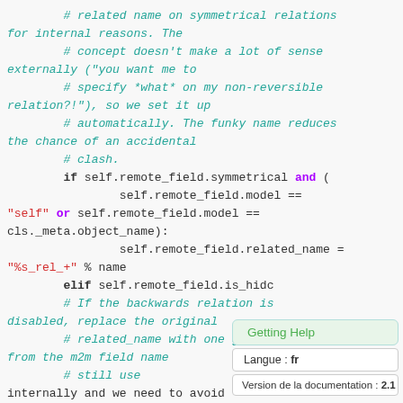Code block showing Django ORM source code with comments and conditionals related to symmetrical relations and related_name handling.
[Figure (screenshot): Three tooltip overlays: 'Getting Help', 'Langue : fr', and 'Version de la documentation : 2.1']